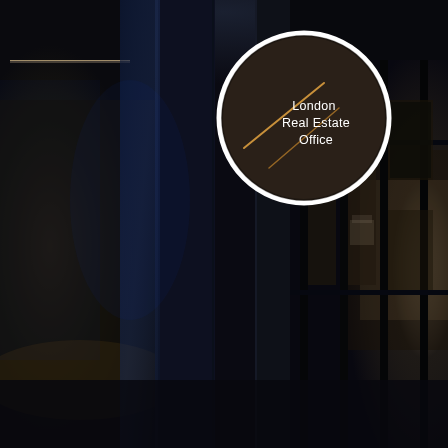[Figure (photo): Interior architectural photograph showing a dark, modern luxury corridor/hallway with dark blue/black steel-framed glass panels and partitions. Left side shows a dimly lit room interior with a decorative figure on a glass table. Right side shows a corridor with dark framed glass walls revealing a bedroom interior, with warm lighting visible in the background. The overall color palette is very dark with deep blues and blacks.]
[Figure (logo): London Real Estate Office logo: a circular badge with a white ring border on a dark brown/charcoal background. Inside the circle are two diagonal gold/amber lines crossing. The text 'London Real Estate Office' appears in white on the right side of the circle interior.]